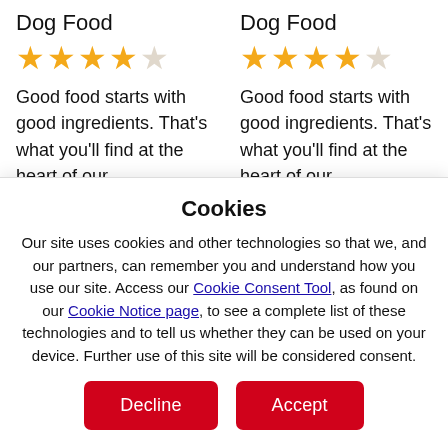Dog Food
★★★★☆
Good food starts with good ingredients. That's what you'll find at the heart of our Incredibites® with Real Beef Flavour recipe. Real beef (the #1 ingredient), whole
Dog Food
★★★★☆
Good food starts with good ingredients. That's what you'll find at the heart of our Incredibites® with Real Chicken Flavour recipe. Real chicken (the #1 ingredient),
Cookies
Our site uses cookies and other technologies so that we, and our partners, can remember you and understand how you use our site. Access our Cookie Consent Tool, as found on our Cookie Notice page, to see a complete list of these technologies and to tell us whether they can be used on your device. Further use of this site will be considered consent.
Decline
Accept